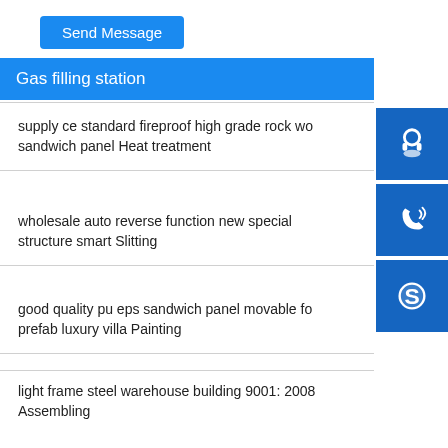Send Message
Gas filling station
supply ce standard fireproof high grade rock wo... sandwich panel Heat treatment
wholesale auto reverse function new special structure smart Slitting
good quality pu eps sandwich panel movable fo... prefab luxury villa Painting
modular metal prefab warehouse and office building plans Cutting
light frame steel warehouse building 9001: 2008 Assembling